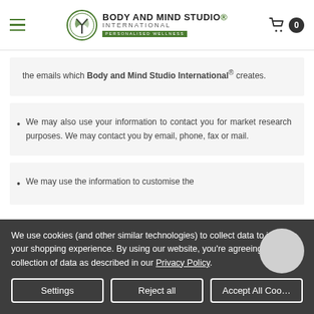Body and Mind Studio International - header with hamburger menu and cart
the emails which Body and Mind Studio International® creates.
We may also use your information to contact you for market research purposes. We may contact you by email, phone, fax or mail.
We may use the information to customise the website according to your interests.
We use cookies (and other similar technologies) to collect data to improve your shopping experience. By using our website, you're agreeing to the collection of data as described in our Privacy Policy.